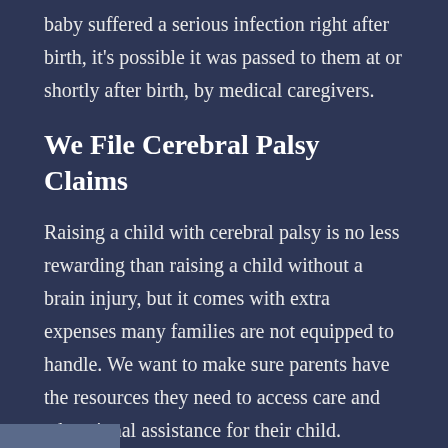baby suffered a serious infection right after birth, it's possible it was passed to them at or shortly after birth, by medical caregivers.
We File Cerebral Palsy Claims
Raising a child with cerebral palsy is no less rewarding than raising a child without a brain injury, but it comes with extra expenses many families are not equipped to handle. We want to make sure parents have the resources they need to access care and educational assistance for their child.
If you believe your child developed cerebral palsy in response to medical negligence, it's worth considering